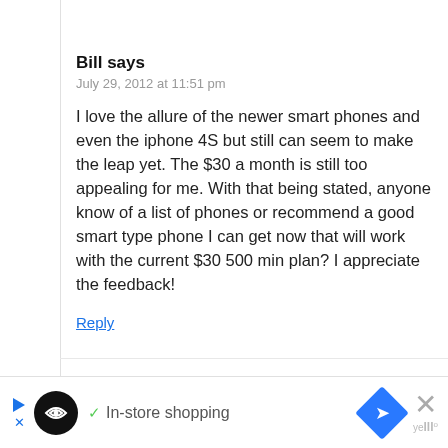Bill says
July 29, 2012 at 11:51 pm
I love the allure of the newer smart phones and even the iphone 4S but still can seem to make the leap yet. The $30 a month is still too appealing for me. With that being stated, anyone know of a list of phones or recommend a good smart type phone I can get now that will work with the current $30 500 min plan? I appreciate the feedback!
Reply
LynnB says